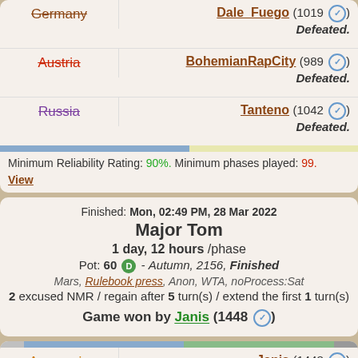| Country | Result |
| --- | --- |
| Germany (strikethrough) | Dale Fuego (1019 ✓) Defeated. |
| Austria (strikethrough) | BohemianRapCity (989 ✓) Defeated. |
| Russia (strikethrough) | Tanteno (1042 ✓) Defeated. |
Minimum Reliability Rating: 90%. Minimum phases played: 99. View
Finished: Mon, 02:49 PM, 28 Mar 2022
Major Tom
1 day, 12 hours /phase
Pot: 60 D - Autumn, 2156, Finished
Mars, Rulebook press, Anon, WTA, noProcess:Sat
2 excused NMR / regain after 5 turn(s) / extend the first 1 turn(s)
Game won by Janis (1448 ✓)
| Country | Result |
| --- | --- |
| Amazonia | Janis (1448 ✓) Won. 22 supply-centers, 14 units |